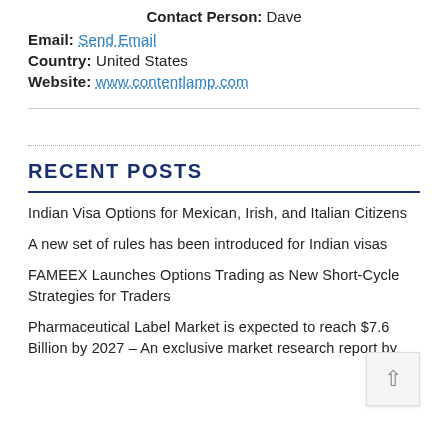Contact Person: Dave
Email: Send Email
Country: United States
Website: www.contentlamp.com
RECENT POSTS
Indian Visa Options for Mexican, Irish, and Italian Citizens
A new set of rules has been introduced for Indian visas
FAMEEX Launches Options Trading as New Short-Cycle Strategies for Traders
Pharmaceutical Label Market is expected to reach $7.6 Billion by 2027 – An exclusive market research report by